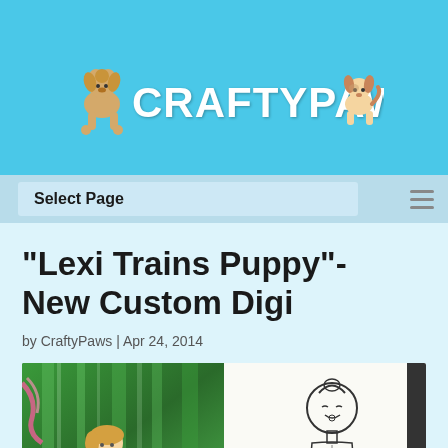[Figure (logo): CraftyPaws logo with illustrated poodle on left and small dog on right, stylized text reading CRAFTYPAWS in white on sky blue background]
Select Page
“Lexi Trains Puppy”- New Custom Digi
by CraftyPaws | Apr 24, 2014
[Figure (photo): Two images side by side: left shows a colored illustration of a girl in a green forest setting, right shows a line-art sketch of a girl character on white paper]